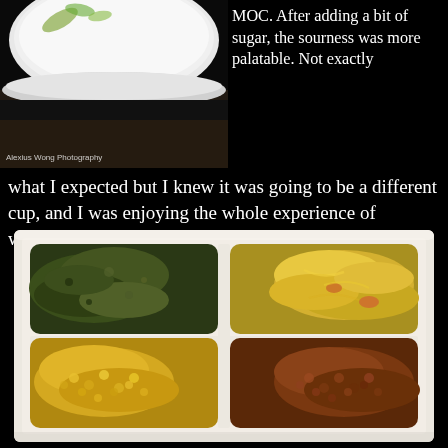[Figure (photo): Top portion of a teacup or bowl with floral pattern on white ceramic, photographed close-up on a wooden surface. Watermark reads 'Alexius Wong Photography'.]
MOC. After adding a bit of sugar, the sourness was more palatable. Not exactly what I expected but I knew it was going to be a different cup, and I was enjoying the whole experience of watching from bean to brew.
[Figure (photo): A white divided food tray (four compartments) containing four Ethiopian or African dishes: top-left is dark cooked greens (collard greens/gomen), top-right is yellow spiced cabbage, bottom-left is yellow lentil dal, bottom-right is brown spiced beans (misir).]